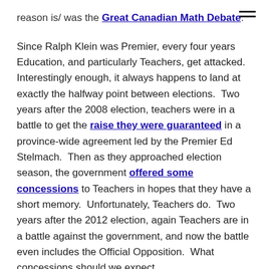reason is/ was the Great Canadian Math Debate.
Since Ralph Klein was Premier, every four years Education, and particularly Teachers, get attacked. Interestingly enough, it always happens to land at exactly the halfway point between elections.  Two years after the 2008 election, teachers were in a battle to get the raise they were guaranteed in a province-wide agreement led by the Premier Ed Stelmach.  Then as they approached election season, the government offered some concessions to Teachers in hopes that they have a short memory.  Unfortunately, Teachers do.  Two years after the 2012 election, again Teachers are in a battle against the government, and now the battle even includes the Official Opposition.  What concessions should we expect